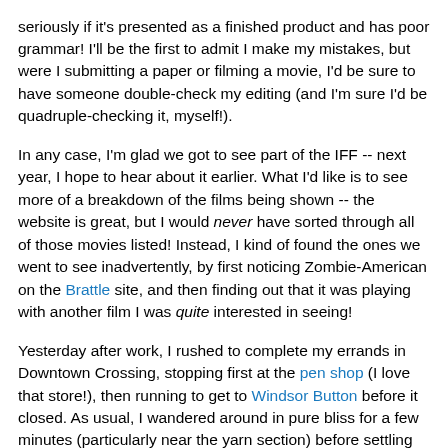seriously if it's presented as a finished product and has poor grammar! I'll be the first to admit I make my mistakes, but were I submitting a paper or filming a movie, I'd be sure to have someone double-check my editing (and I'm sure I'd be quadruple-checking it, myself!).
In any case, I'm glad we got to see part of the IFF -- next year, I hope to hear about it earlier. What I'd like is to see more of a breakdown of the films being shown -- the website is great, but I would never have sorted through all of those movies listed! Instead, I kind of found the ones we went to see inadvertently, by first noticing Zombie-American on the Brattle site, and then finding out that it was playing with another film I was quite interested in seeing!
Yesterday after work, I rushed to complete my errands in Downtown Crossing, stopping first at the pen shop (I love that store!), then running to get to Windsor Button before it closed. As usual, I wandered around in pure bliss for a few minutes (particularly near the yarn section) before settling down to business. I purchased 9 small containers (blue, green, and white) of fabric paint for the banner CodePink'll